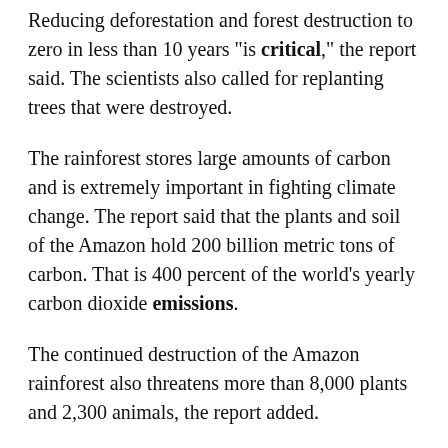Reducing deforestation and forest destruction to zero in less than 10 years "is critical," the report said. The scientists also called for replanting trees that were destroyed.
The rainforest stores large amounts of carbon and is extremely important in fighting climate change. The report said that the plants and soil of the Amazon hold 200 billion metric tons of carbon. That is 400 percent of the world's yearly carbon dioxide emissions.
The continued destruction of the Amazon rainforest also threatens more than 8,000 plants and 2,300 animals, the report added.
Mercedes Bustamante is a professor at the University of Brasilia. She spoke in an online presentation of some of the study's findings. She said the destruction of the